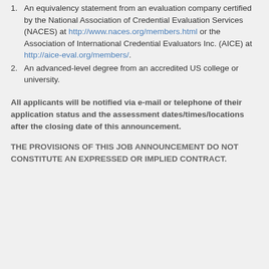1. An equivalency statement from an evaluation company certified by the National Association of Credential Evaluation Services (NACES) at http://www.naces.org/members.html or the Association of International Credential Evaluators Inc. (AICE) at http://aice-eval.org/members/.
2. An advanced-level degree from an accredited US college or university.
All applicants will be notified via e-mail or telephone of their application status and the assessment dates/times/locations after the closing date of this announcement.
THE PROVISIONS OF THIS JOB ANNOUNCEMENT DO NOT CONSTITUTE AN EXPRESSED OR IMPLIED CONTRACT.